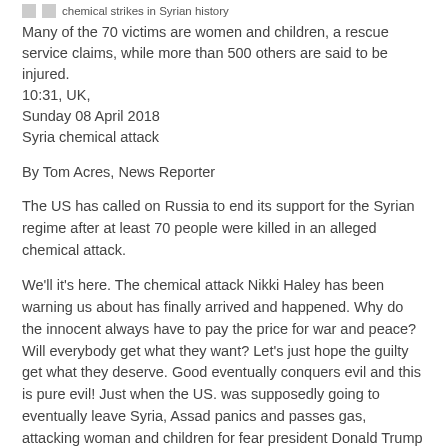chemical strikes in Syrian history
Many of the 70 victims are women and children, a rescue service claims, while more than 500 others are said to be injured.
10:31, UK,
Sunday 08 April 2018
Syria chemical attack
By Tom Acres, News Reporter
The US has called on Russia to end its support for the Syrian regime after at least 70 people were killed in an alleged chemical attack.
We'll it's here. The chemical attack Nikki Haley has been warning us about has finally arrived and happened. Why do the innocent always have to pay the price for war and peace? Will everybody get what they want? Let's just hope the guilty get what they deserve. Good eventually conquers evil and this is pure evil! Just when the US. was supposedly going to eventually leave Syria, Assad panics and passes gas, attacking woman and children for fear president Donald Trump will remove the remaining contingent of American soldiers and take them home?